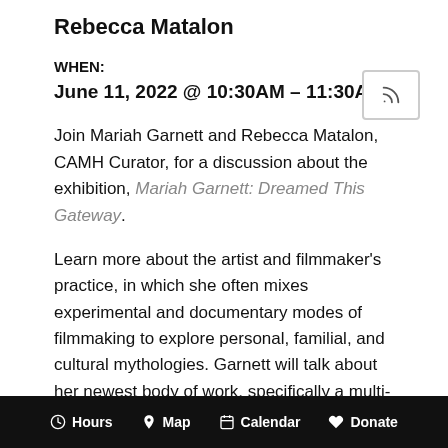Rebecca Matalon
WHEN:
June 11, 2022 @ 10:30AM – 11:30AM
Join Mariah Garnett and Rebecca Matalon, CAMH Curator, for a discussion about the exhibition, Mariah Garnett: Dreamed This Gateway.
Learn more about the artist and filmmaker's practice, in which she often mixes experimental and documentary modes of filmmaking to explore personal, familial, and cultural mythologies. Garnett will talk about her newest body of work, specifically a multi-channel video installation made for this exhibition, and the importance of a collaborative and multiplicitous approach to storytelling that centers queer, trans, and non-binary performers and
Hours   Map   Calendar   Donate